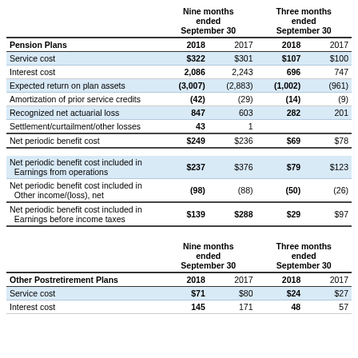| Pension Plans | Nine months ended September 30 2018 | Nine months ended September 30 2017 | Three months ended September 30 2018 | Three months ended September 30 2017 |
| --- | --- | --- | --- | --- |
| Service cost | $322 | $301 | $107 | $100 |
| Interest cost | 2,086 | 2,243 | 696 | 747 |
| Expected return on plan assets | (3,007) | (2,883) | (1,002) | (961) |
| Amortization of prior service credits | (42) | (29) | (14) | (9) |
| Recognized net actuarial loss | 847 | 603 | 282 | 201 |
| Settlement/curtailment/other losses | 43 | 1 |  |  |
| Net periodic benefit cost | $249 | $236 | $69 | $78 |
| Net periodic benefit cost included in Earnings from operations | $237 | $376 | $79 | $123 |
| Net periodic benefit cost included in Other income/(loss), net | (98) | (88) | (50) | (26) |
| Net periodic benefit cost included in Earnings before income taxes | $139 | $288 | $29 | $97 |
| Other Postretirement Plans | Nine months ended September 30 2018 | Nine months ended September 30 2017 | Three months ended September 30 2018 | Three months ended September 30 2017 |
| --- | --- | --- | --- | --- |
| Service cost | $71 | $80 | $24 | $27 |
| Interest cost | 145 | 171 | 48 | 57 |